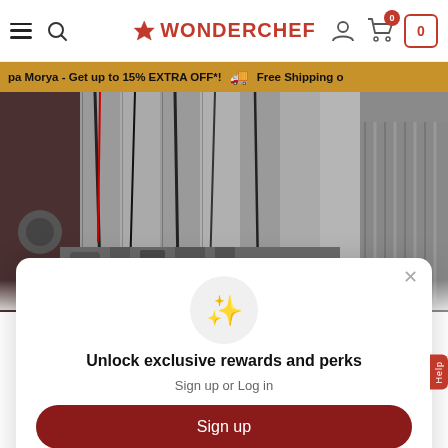Wonderchef - navigation header with hamburger menu, search, logo, user icon, cart
pa Morya - Get up to 15% EXTRA OFF*!  🚚 Free Shipping o
[Figure (photo): Industrial manufacturing/factory interior showing large metal panels, pipes, machinery and equipment]
[Figure (illustration): Modal popup dialog with sparkle/stars emoji icon, headline 'Unlock exclusive rewards and perks', subtext 'Sign up or Log in', a red Sign up button, and a link 'Already have an account? Sign in']
Unlock exclusive rewards and perks
Sign up or Log in
Sign up
Already have an account? Sign in